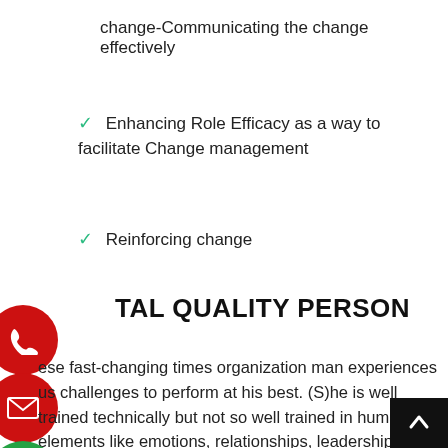change-Communicating the change effectively
✓ Enhancing Role Efficacy as a way to facilitate Change management
✓ Reinforcing change
TAL QUALITY PERSON
ese fast-changing times organization man experiences us challenges to perform at his best. (S)he is well trained technically but not so well trained in human elements like emotions, relationships, leaderships,